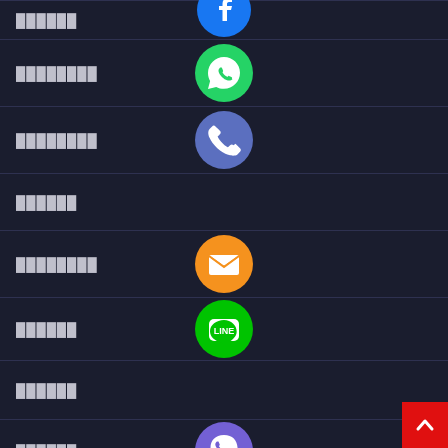██████
████████
████████
██████
████████
██████
██████
██████
█████████
[Figure (infographic): Social media and communication app icons in circular buttons: WhatsApp (green), Phone (blue), Email (orange), LINE (green), Viber (purple), Cancel/X (green). Plus a red FAB back-to-top button.]